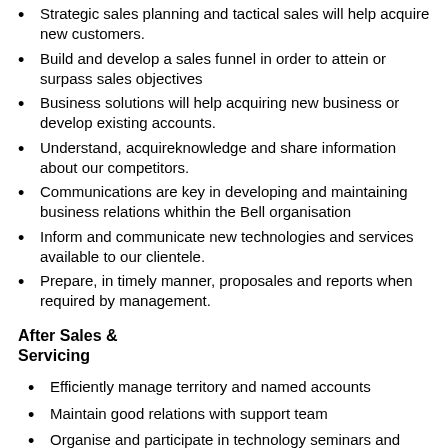Strategic sales planning and tactical sales will help acquire new customers.
Build and develop a sales funnel in order to attein or surpass sales objectives
Business solutions will help acquiring new business or develop existing accounts.
Understand, acquireknowledge and share information about our competitors.
Communications are key in developing and maintaining business relations whithin the Bell organisation
Inform and communicate new technologies and services available to our clientele.
Prepare, in timely manner, proposales and reports when required by management.
After Sales &
Servicing
Efficiently manage territory and named accounts
Maintain good relations with support team
Organise and participate in technology seminars and workshops